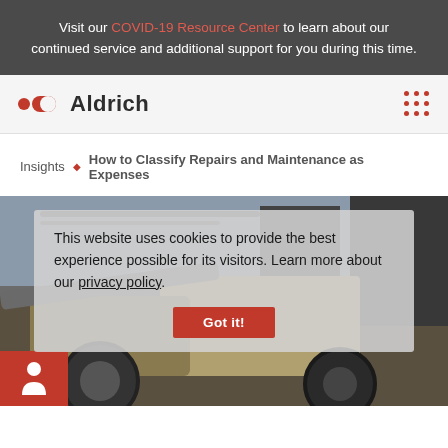Visit our COVID-19 Resource Center to learn about our continued service and additional support for you during this time.
[Figure (logo): Aldrich logo with red circle and 'd' icon and company name]
Insights ♦ How to Classify Repairs and Maintenance as Expenses
[Figure (photo): Industrial/construction equipment photo (loader/bulldozer) shown behind a cookie consent overlay]
This website uses cookies to provide the best experience possible for its visitors. Learn more about our privacy policy.
Got it!